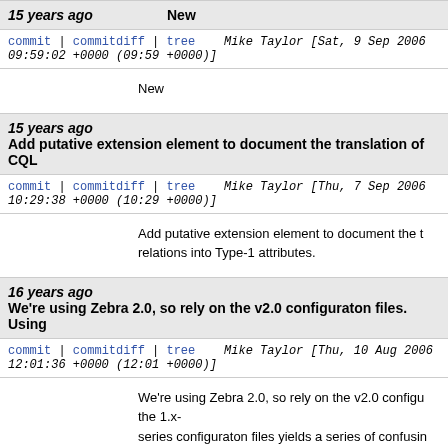15 years ago   New
commit | commitdiff | tree   Mike Taylor [Sat, 9 Sep 2006 09:59:02 +0000 (09:59 +0000)]
New
15 years ago   Add putative extension element to document the translation of CQL
commit | commitdiff | tree   Mike Taylor [Thu, 7 Sep 2006 10:29:38 +0000 (10:29 +0000)]
Add putative extension element to document the t relations into Type-1 attributes.
16 years ago   We're using Zebra 2.0, so rely on the v2.0 configuraton files. Using
commit | commitdiff | tree   Mike Taylor [Thu, 10 Aug 2006 12:01:36 +0000 (12:01 +0000)]
We're using Zebra 2.0, so rely on the v2.0 configu the 1.x-
series configuraton files yields a series of confusin poorly diagnosed errors.